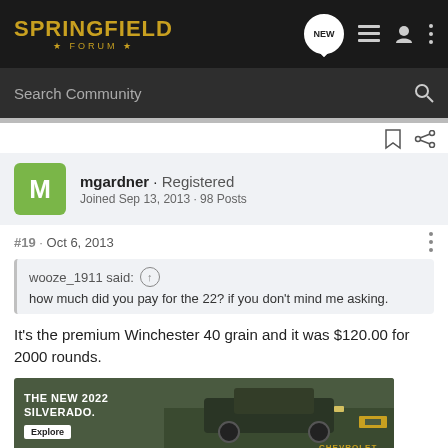SPRINGFIELD FORUM
Search Community
mgardner · Registered
Joined Sep 13, 2013 · 98 Posts
#19 · Oct 6, 2013
wooze_1911 said: how much did you pay for the 22? if you don't mind me asking.
It's the premium Winchester 40 grain and it was $120.00 for 2000 rounds.
[Figure (photo): Advertisement banner for The New 2022 Silverado by Chevrolet, showing a truck in a natural setting with an Explore button.]